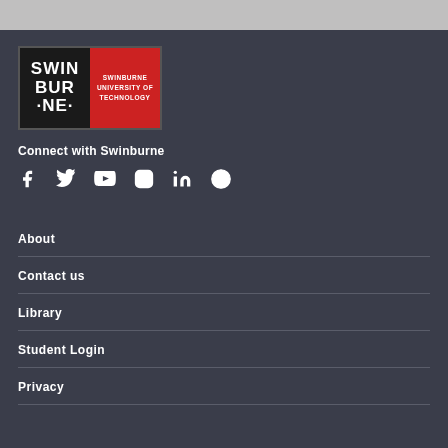[Figure (logo): Swinburne University of Technology logo — black left half with SWINBURNE text, red right half with SWINBURNE UNIVERSITY OF TECHNOLOGY text]
Connect with Swinburne
[Figure (other): Social media icons row: Facebook, Twitter, YouTube, Instagram, LinkedIn, and an info icon]
About
Contact us
Library
Student Login
Privacy